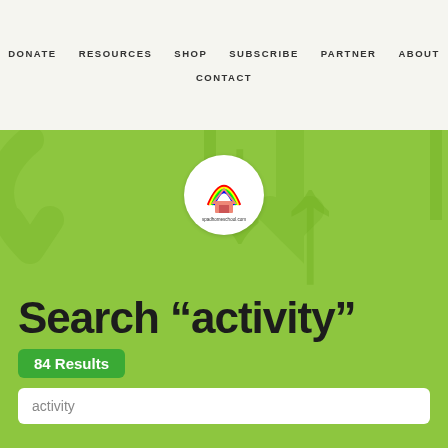DONATE  RESOURCES  SHOP  SUBSCRIBE  PARTNER  ABOUT  CONTACT
[Figure (logo): Circular logo with a colorful house/rainbow icon and text 'spadhomeschool.com']
Search “activity”
84 Results
activity